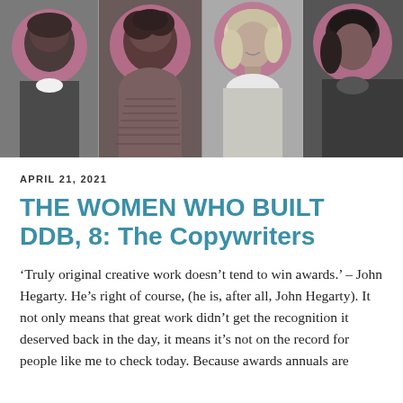[Figure (photo): Black and white photo strip showing four women, each with a pink/mauve circular halo behind their head, reminiscent of vintage portrait style from the 1960s-70s advertising era.]
APRIL 21, 2021
THE WOMEN WHO BUILT DDB, 8: The Copywriters
‘Truly original creative work doesn’t tend to win awards.’ – John Hegarty. He’s right of course, (he is, after all, John Hegarty). It not only means that great work didn’t get the recognition it deserved back in the day, it means it’s not on the record for people like me to check today. Because awards annuals are